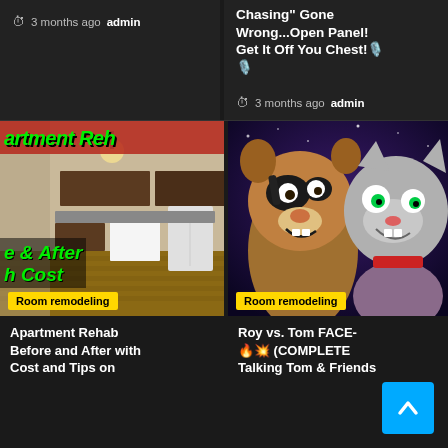3 months ago  admin
Chasing" Gone Wrong...Open Panel! Get It Off You Chest! 🎙️ 🎙️
3 months ago  admin
[Figure (photo): Apartment rehab thumbnail with green text overlay on red banner reading 'artment Reh' and '& After h Cost', showing a renovated kitchen interior with wood floors]
Room remodeling
[Figure (photo): Animated raccoon and Talking Tom cat characters looking surprised against purple space background]
Room remodeling
Apartment Rehab Before and After with Cost and Tips on
Roy vs. Tom FACE- 🔥💥 (COMPLETE Talking Tom & Friends